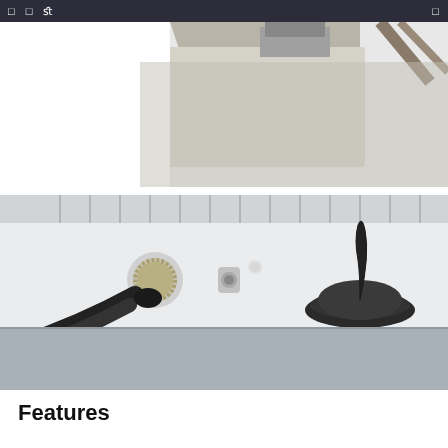□  □  fl                □
[Figure (photo): Partial top photo showing a device or equipment with cables and angled components against a white background, cropped at top.]
[Figure (photo): Close-up photo of the back panel of a white electronic device/enclosure with a BNC or circular connector with a black cable plugged in, a small silver adapter or connector in the center, and a black magnetic-base antenna on the right. The device has a ribbed/finned heat sink along the top edge.]
Features